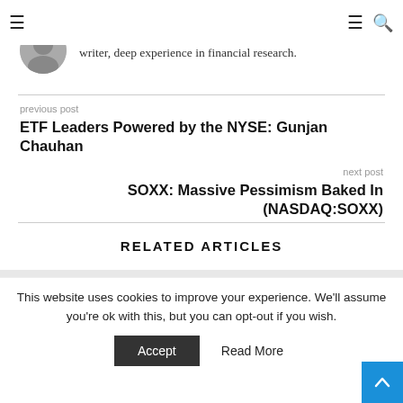≡  ≡ 🔍
writer, deep experience in financial research.
previous post
ETF Leaders Powered by the NYSE: Gunjan Chauhan
next post
SOXX: Massive Pessimism Baked In (NASDAQ:SOXX)
RELATED ARTICLES
This website uses cookies to improve your experience. We'll assume you're ok with this, but you can opt-out if you wish.
Accept  Read More